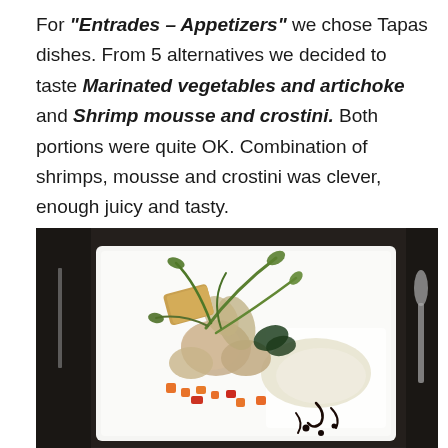For "Entrades – Appetizers" we chose Tapas dishes. From 5 alternatives we decided to taste Marinated vegetables and artichoke and Shrimp mousse and crostini. Both portions were quite OK. Combination of shrimps, mousse and crostini was clever, enough juicy and tasty.
[Figure (photo): A plated appetizer dish on a white square plate: marinated vegetables and artichoke with green arugula garnish, colorful diced vegetables (carrots, peppers), mushrooms, and black balsamic drizzle, served on a dark restaurant table setting with cutlery visible.]